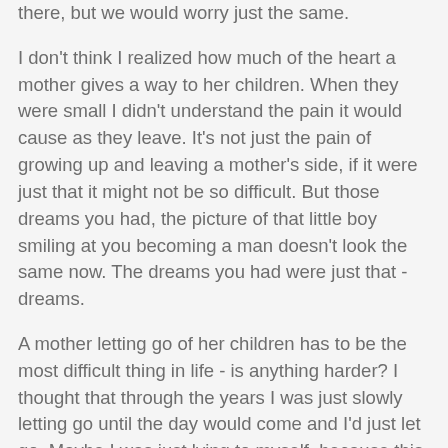there, but we would worry just the same.
I don't think I realized how much of the heart a mother gives a way to her children. When they were small I didn't understand the pain it would cause as they leave. It's not just the pain of growing up and leaving a mother's side, if it were just that it might not be so difficult. But those dreams you had, the picture of that little boy smiling at you becoming a man doesn't look the same now. The dreams you had were just that - dreams.
A mother letting go of her children has to be the most difficult thing in life - is anything harder? I thought that through the years I was just slowly letting go until the day would come and I'd just let go. Maybe I was just lying to myself, because this pain seems at times unbearable.
Maybe all those times I was praying for my sons I should have been praying for me. Praying that I could let go when the time came. That I would be able to accept whoever or whatever he became as he grew up. I should have been praying that I would trust God with their lives as He walked